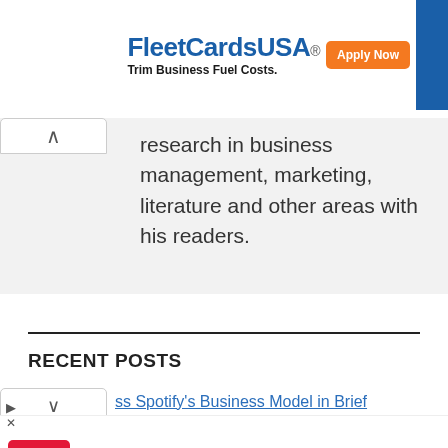[Figure (screenshot): FleetCardsUSA advertisement banner with 'Apply Now' button and tagline 'Trim Business Fuel Costs.']
research in business management, marketing, literature and other areas with his readers.
RECENT POSTS
ss Spotify's Business Model in Brief
[Figure (screenshot): Walgreens local ad: Ashburn OPEN 8AM-10PM, 20321 Susan Leslie Dr, Ashburn]